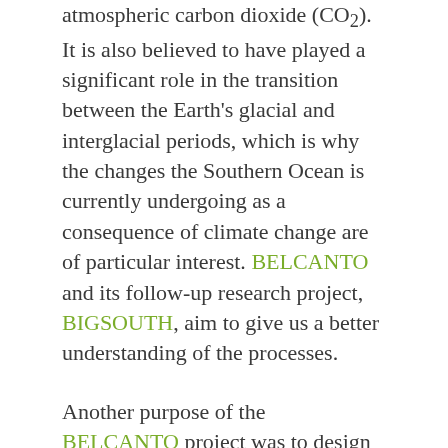atmospheric carbon dioxide (CO₂). It is also believed to have played a significant role in the transition between the Earth's glacial and interglacial periods, which is why the changes the Southern Ocean is currently undergoing as a consequence of climate change are of particular interest. BELCANTO and its follow-up research project, BIGSOUTH, aim to give us a better understanding of the processes.
Another purpose of the BELCANTO project was to design models to reproduce carbon uptake in the Southern Ocean incorporating the processes related to carbon uptake. Right now we're trying to get this model running accurately. But at the moment it's not clear whether primary producers at the bottom of the food chain in the Southern Ocean such as phytoplankton will increase or decrease as the climate changes. It's quite a